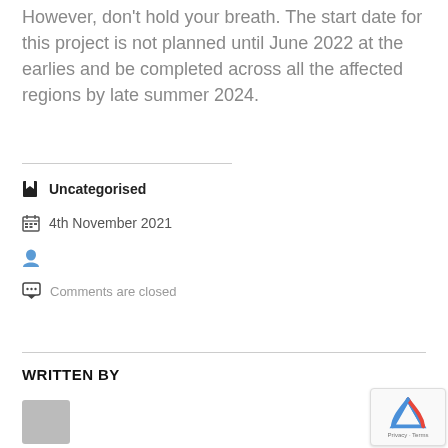However, don't hold your breath. The start date for this project is not planned until June 2022 at the earlies and be completed across all the affected regions by late summer 2024.
Uncategorised
4th November 2021
Comments are closed
WRITTEN BY